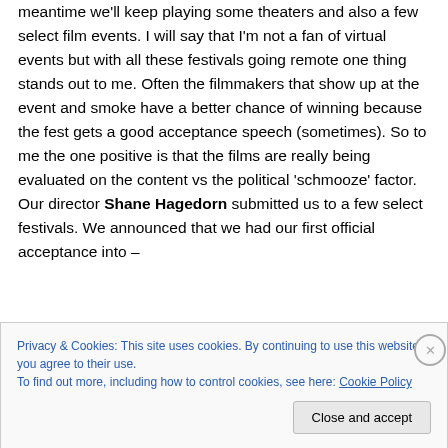meantime we'll keep playing some theaters and also a few select film events. I will say that I'm not a fan of virtual events but with all these festivals going remote one thing stands out to me. Often the filmmakers that show up at the event and smoke have a better chance of winning because the fest gets a good acceptance speech (sometimes). So to me the one positive is that the films are really being evaluated on the content vs the political 'schmooze' factor. Our director Shane Hagedorn submitted us to a few select festivals. We announced that we had our first official acceptance into –
Privacy & Cookies: This site uses cookies. By continuing to use this website, you agree to their use.
To find out more, including how to control cookies, see here: Cookie Policy
Close and accept